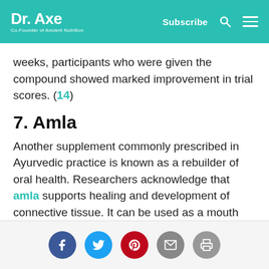Dr. Axe — Co-Founder of Ancient Nutrition | Subscribe
weeks, participants who were given the compound showed marked improvement in trial scores. (14)
7. Amla
Another supplement commonly prescribed in Ayurvedic practice is known as a rebuilder of oral health. Researchers acknowledge that amla supports healing and development of connective tissue. It can be used as a mouth rinse, or taken orally in a capsule form for long-term dental health. (15)
Social share buttons: Facebook, Twitter, Pinterest, Email, Print